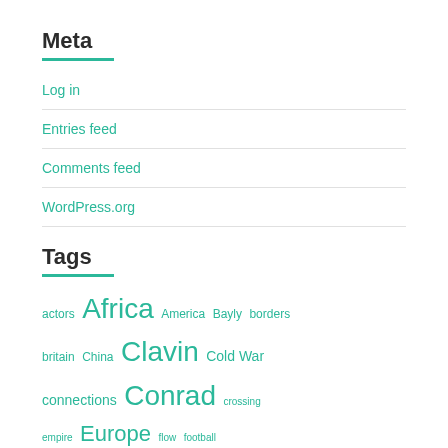Meta
Log in
Entries feed
Comments feed
WordPress.org
Tags
actors Africa America Bayly borders britain China Clavin Cold War connections Conrad crossing empire Europe flow football Germany global global history globalisation histoire croisée links Lucumí microhistory migration movement narrative Networks Patel Pomodori present Project Project Proposal Regla de Ochá Rüger Second World War transnational